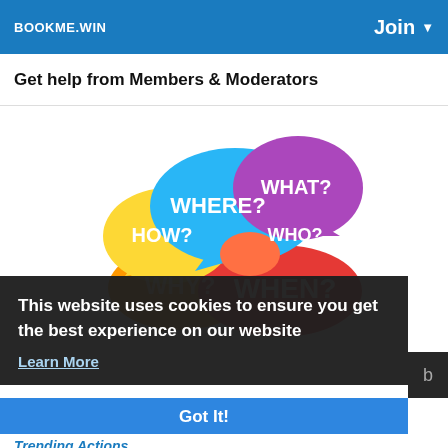BOOKME.WIN
Join ▾
Get help from Members & Moderators
[Figure (illustration): Colorful speech bubbles with question words: WHERE?, WHAT?, HOW?, WHO?, WHY?, WHEN?]
This website uses cookies to ensure you get the best experience on our website
Learn More
Got It!
Trending Actions....